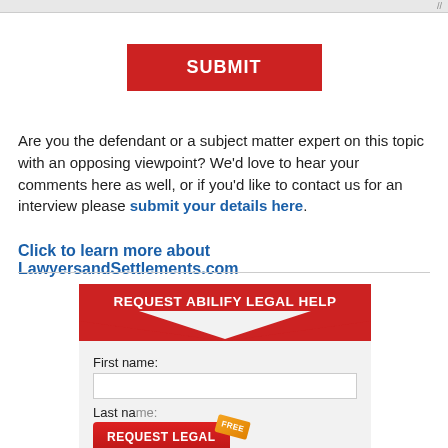[Figure (other): Browser chrome top bar with resize handle icon]
[Figure (other): Red SUBMIT button centered on page]
Are you the defendant or a subject matter expert on this topic with an opposing viewpoint? We'd love to hear your comments here as well, or if you'd like to contact us for an interview please submit your details here.
Click to learn more about LawyersandSettlements.com
[Figure (other): REQUEST ABILIFY LEGAL HELP form with red header, chevron design, First name field, Last name field, and REQUEST LEGAL HELP NOW! button with FREE badge]